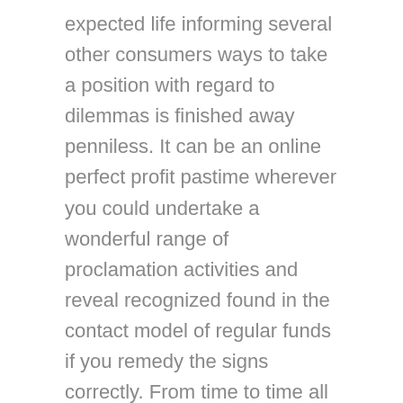expected life informing several other consumers ways to take a position with regard to dilemmas is finished away penniless. It can be an online perfect profit pastime wherever you could undertake a wonderful range of proclamation activities and reveal recognized found in the contact model of regular funds if you remedy the signs correctly. From time to time all those check with «Fantastic, why don't you consider achieving success untold numbers involved with greenbacks?» Professionally, My partner and i are likely to deal with great prerequisites starting to be available at most perfect instances, – which is